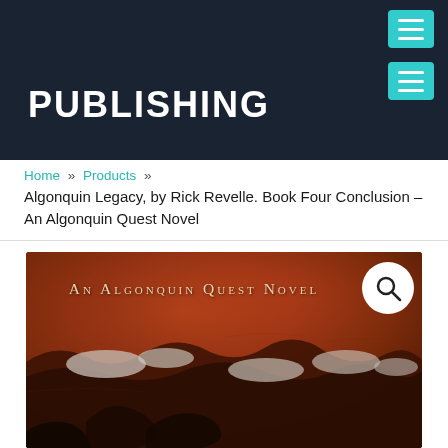PUBLISHING
Home » Products » Algonquin Legacy, by Rick Revelle. Book Four Conclusion – An Algonquin Quest Novel
[Figure (photo): Book cover image for 'An Algonquin Quest Novel' showing a reddish-brown landscape with rocky terrain, white clouds or snow, dark foreground elements, and the series title text 'An Algonquin Quest Novel' at top. A search/magnify icon is overlaid in the upper right corner.]